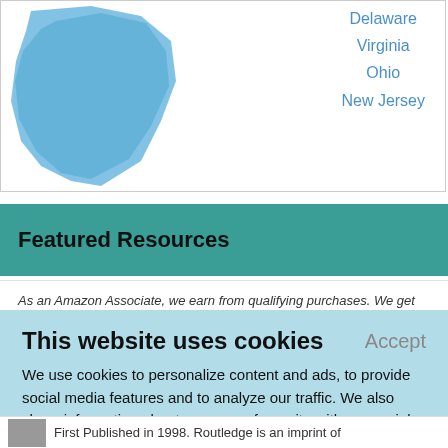[Figure (map): Partial blue US map showing eastern states region]
Delaware
Virginia
Ohio
New Jersey
Featured Resources
As an Amazon Associate, we earn from qualifying purchases. We get
This website uses cookies
We use cookies to personalize content and ads, to provide social media features and to analyze our traffic. We also share information about your use of our site with our social media, advertising and analytics partners who may combine it with other information that you've provided to them or that they've collected from your use of their services.
Learn More.
First Published in 1998. Routledge is an imprint of